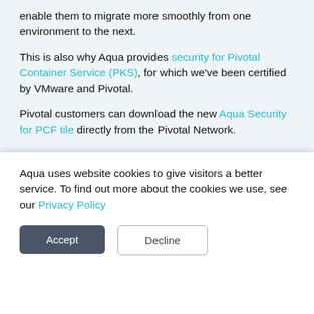enable them to migrate more smoothly from one environment to the next.
This is also why Aqua provides security for Pivotal Container Service (PKS), for which we've been certified by VMware and Pivotal.
Pivotal customers can download the new Aqua Security for PCF tile directly from the Pivotal Network.
Liran Kogan
Aqua uses website cookies to give visitors a better service. To find out more about the cookies we use, see our Privacy Policy
Accept
Decline